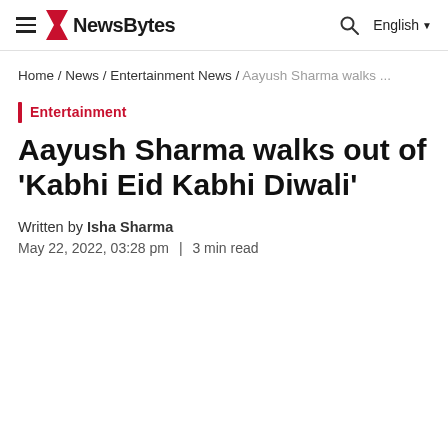NewsBytes | Home / News / Entertainment News / Aayush Sharma walks ...
Home / News / Entertainment News / Aayush Sharma walks ...
Entertainment
Aayush Sharma walks out of 'Kabhi Eid Kabhi Diwali'
Written by Isha Sharma
May 22, 2022, 03:28 pm | 3 min read